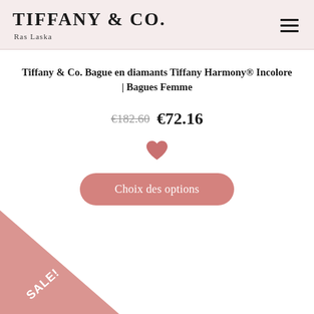Tiffany & Co. | Ras Laska
Tiffany & Co. Bague en diamants Tiffany Harmony® Incolore | Bagues Femme
€182.60 €72.16
[Figure (illustration): Pink heart icon (favourite/wishlist icon)]
Choix des options
[Figure (illustration): Pink triangle sale badge with text SALE! in bottom-left corner of the page]